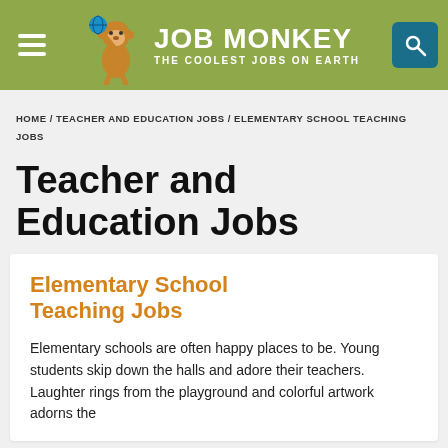JOB MONKEY THE COOLEST JOBS ON EARTH
HOME / TEACHER AND EDUCATION JOBS / ELEMENTARY SCHOOL TEACHING JOBS
Teacher and Education Jobs
Elementary School Teaching Jobs
Elementary schools are often happy places to be. Young students skip down the halls and adore their teachers. Laughter rings from the playground and colorful artwork adorns the